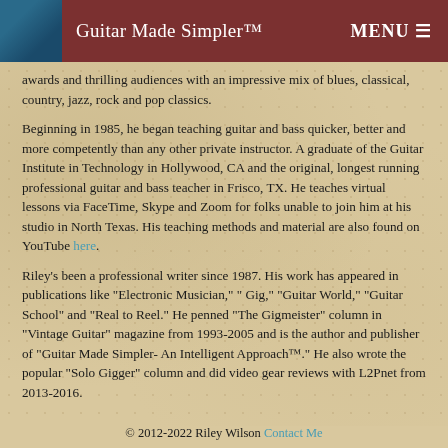Guitar Made Simpler™   MENU ☰
awards and thrilling audiences with an impressive mix of blues, classical, country, jazz, rock and pop classics.
Beginning in 1985, he began teaching guitar and bass quicker, better and more competently than any other private instructor. A graduate of the Guitar Institute in Technology in Hollywood, CA and the original, longest running professional guitar and bass teacher in Frisco, TX. He teaches virtual lessons via FaceTime, Skype and Zoom for folks unable to join him at his studio in North Texas. His teaching methods and material are also found on YouTube here.
Riley's been a professional writer since 1987. His work has appeared in publications like "Electronic Musician," " Gig," "Guitar World," "Guitar School" and "Real to Reel." He penned "The Gigmeister" column in "Vintage Guitar" magazine from 1993-2005 and is the author and publisher of "Guitar Made Simpler- An Intelligent Approach™." He also wrote the popular "Solo Gigger" column and did video gear reviews with L2Pnet from 2013-2016.
© 2012-2022 Riley Wilson Contact Me